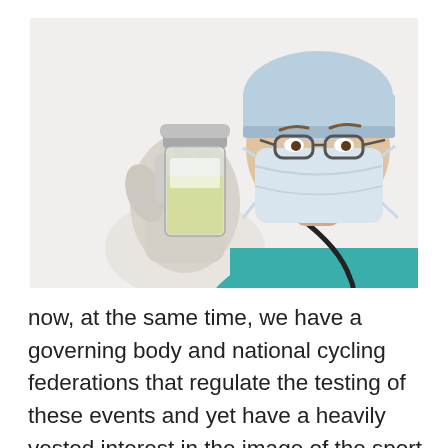[Figure (photo): A medical professional wearing blue surgical scrubs, surgical mask, surgical cap, and glasses holding up a clear specimen container with yellowish liquid (urine sample). The background is white.]
now, at the same time, we have a governing body and national cycling federations that regulate the testing of these events and yet have a heavily vested interest in the image of the sport being – if you'll excuse the tired old